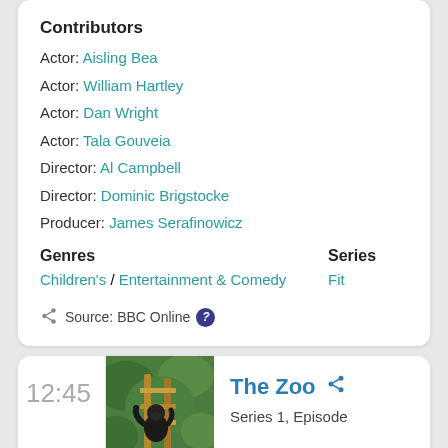Contributors
Actor: Aisling Bea
Actor: William Hartley
Actor: Dan Wright
Actor: Tala Gouveia
Director: Al Campbell
Director: Dominic Brigstocke
Producer: James Serafinowicz
Genres
Series
Children's / Entertainment & Comedy
Fit
Source: BBC Online
12:45
The Zoo
Series 1, Episode